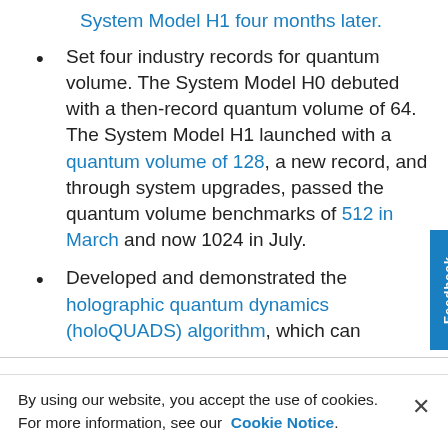System Model H1 four months later.
Set four industry records for quantum volume. The System Model H0 debuted with a then-record quantum volume of 64. The System Model H1 launched with a quantum volume of 128, a new record, and through system upgrades, passed the quantum volume benchmarks of 512 in March and now 1024 in July.
Developed and demonstrated the holographic quantum dynamics (holoQUADS) algorithm, which can
By using our website, you accept the use of cookies. For more information, see our Cookie Notice.